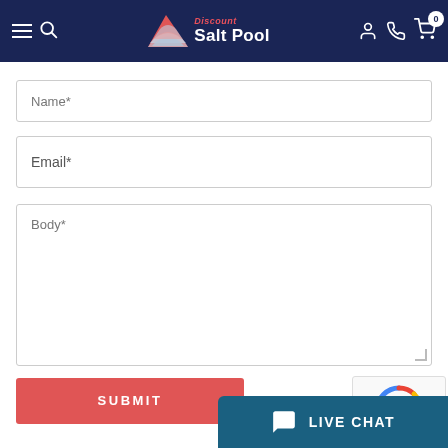Discount Salt Pool — navigation header with logo, search, account, phone, and cart icons
Name*
Email*
Body*
SUBMIT
[Figure (other): Partial reCAPTCHA widget]
LIVE CHAT